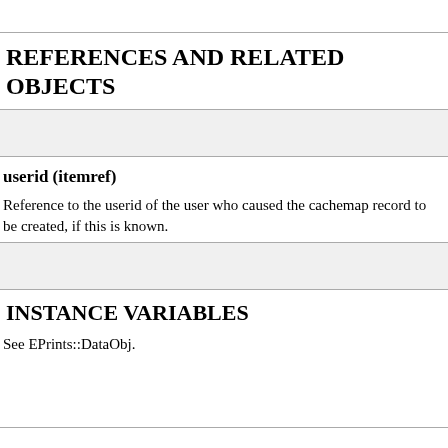REFERENCES AND RELATED OBJECTS
userid (itemref)
Reference to the userid of the user who caused the cachemap record to be created, if this is known.
INSTANCE VARIABLES
See EPrints::DataObj.